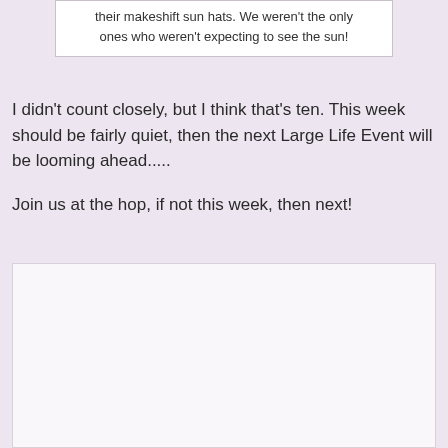their makeshift sun hats. We weren't the only ones who weren't expecting to see the sun!
I didn't count closely, but I think that's ten. This week should be fairly quiet, then the next Large Life Event will be looming ahead.....
Join us at the hop, if not this week, then next!